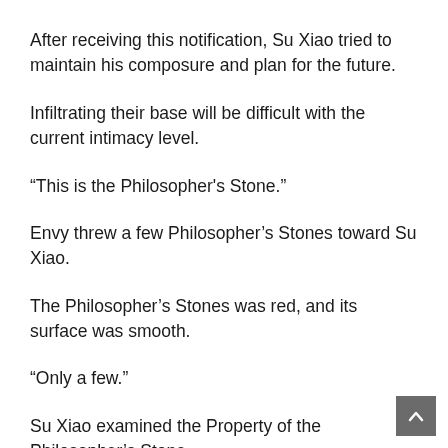After receiving this notification, Su Xiao tried to maintain his composure and plan for the future.
Infiltrating their base will be difficult with the current intimacy level.
“This is the Philosopher's Stone.”
Envy threw a few Philosopher’s Stones toward Su Xiao.
The Philosopher’s Stones was red, and its surface was smooth.
“Only a few.”
Su Xiao examined the Property of the Philosopher’s Stone